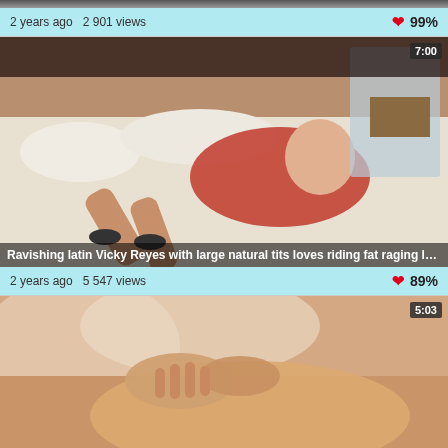[Figure (screenshot): Partial top strip of a video thumbnail (cropped, dark/blurred content)]
2 years ago  2 901 views  ❤ 99%
[Figure (screenshot): Video thumbnail: woman in red dress on white bed, duration badge 7:00, title overlay 'Ravishing latin Vicky Reyes with large natural tits loves riding fat raging lovestick passi...']
2 years ago  5 547 views  ❤ 89%
[Figure (screenshot): Video thumbnail: close-up skin/hands image, duration badge 5:03]